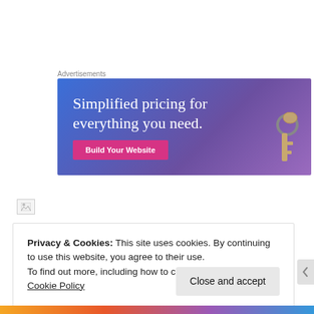Advertisements
[Figure (illustration): Advertisement banner with gradient blue-purple background, text 'Simplified pricing for everything you need.' and a pink 'Build Your Website' button, with a key image on the right.]
[Figure (illustration): Broken image placeholder icon]
Privacy & Cookies: This site uses cookies. By continuing to use this website, you agree to their use.
To find out more, including how to control cookies, see here: Cookie Policy
Close and accept